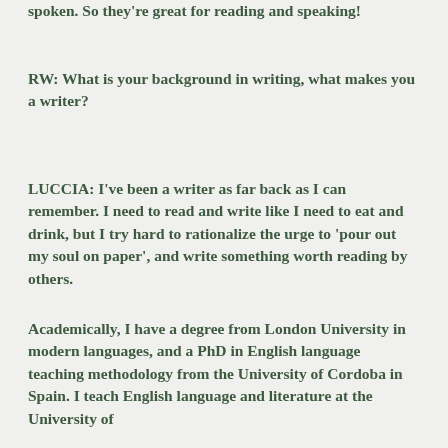spoken. So they're great for reading and speaking!
RW: What is your background in writing, what makes you a writer?
LUCCIA: I've been a writer as far back as I can remember. I need to read and write like I need to eat and drink, but I try hard to rationalize the urge to 'pour out my soul on paper', and write something worth reading by others.
Academically, I have a degree from London University in modern languages, and a PhD in English language teaching methodology from the University of Cordoba in Spain. I teach English language and literature at the University of